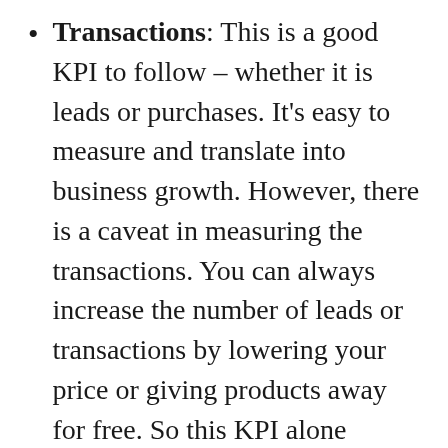Transactions: This is a good KPI to follow – whether it is leads or purchases. It's easy to measure and translate into business growth. However, there is a caveat in measuring the transactions. You can always increase the number of leads or transactions by lowering your price or giving products away for free. So this KPI alone should not be measured.
Revenue per user: A higher level KPI than transactions, it does in...